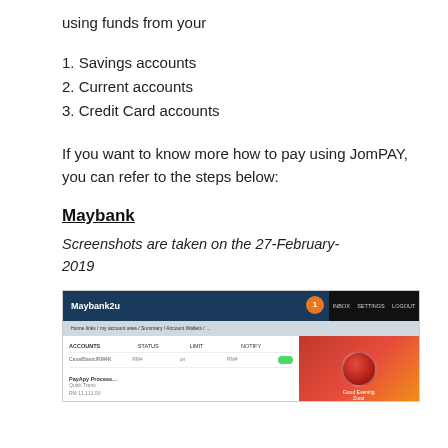using funds from your
1. Savings accounts
2. Current accounts
3. Credit Card accounts
If you want to know more how to pay using JomPAY, you can refer to the steps below:
Maybank
Screenshots are taken on the 27-February-2019
[Figure (screenshot): Maybank2u online banking portal screenshot showing account dashboard with navigation menu, accounts section, and promotional banner]